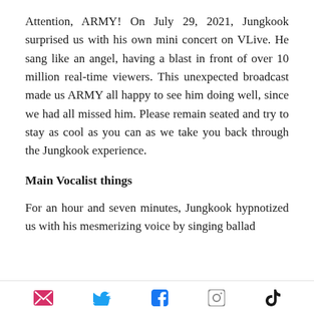Attention, ARMY! On July 29, 2021, Jungkook surprised us with his own mini concert on VLive. He sang like an angel, having a blast in front of over 10 million real-time viewers. This unexpected broadcast made us ARMY all happy to see him doing well, since we had all missed him. Please remain seated and try to stay as cool as you can as we take you back through the Jungkook experience.
Main Vocalist things
For an hour and seven minutes, Jungkook hypnotized us with his mesmerizing voice by singing ballad
email | twitter | facebook | instagram | tiktok